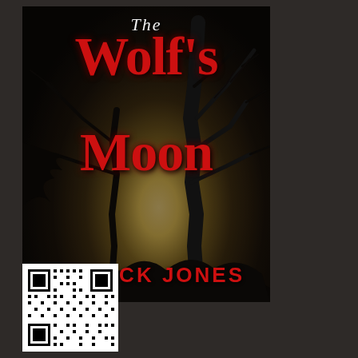[Figure (illustration): Book cover for 'The Wolf's Moon' by Patrick Jones. Dark horror-style cover with black background, bare tree silhouettes, and a glowing full moon in the center. The title 'The Wolf's Moon' is displayed in large dripping red gothic lettering. The author's name 'PATRICK JONES' appears at the bottom in bold red capital letters.]
[Figure (other): QR code in black and white, positioned at the bottom left of the page.]